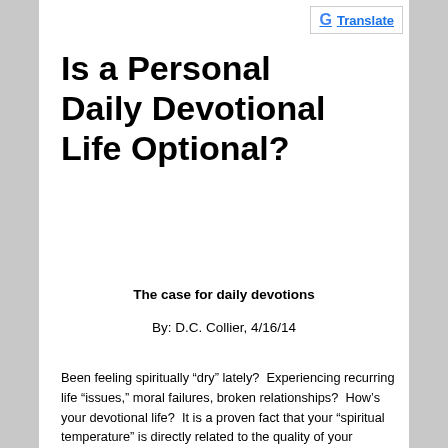[Figure (logo): Google Translate button with G logo and blue underlined Translate text]
Is a Personal Daily Devotional Life Optional?
The case for daily devotions
By: D.C. Collier, 4/16/14
Been feeling spiritually “dry” lately?  Experiencing recurring life “issues,” moral failures, broken relationships?  How’s your devotional life?  It is a proven fact that your “spiritual temperature” is directly related to the quality of your devotional life.    Most married couples learn, the hard way, that to neglect quality time together is